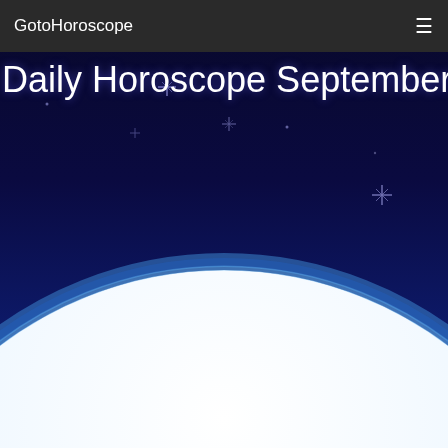GotoHoroscope
[Figure (illustration): Night sky / space hero image with deep blue-to-black gradient background, scattered star symbols, and a large white glowing planetary or earth curvature rising from the bottom of the image with a blue atmosphere glow along the horizon edge.]
Daily Horoscope September 21